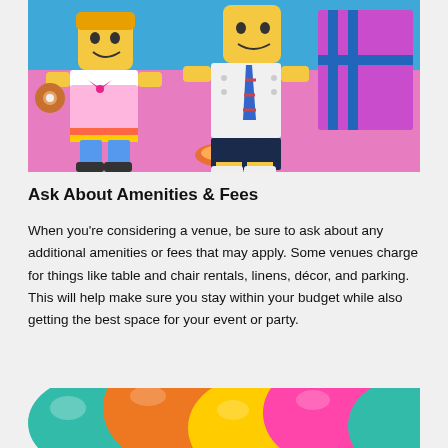[Figure (photo): Two LEGO minifigures on a pink background with colorful gifts and donuts. One figure wears a dress with a bow, the other wears a shirt with a tie.]
Ask About Amenities & Fees
When you’re considering a venue, be sure to ask about any additional amenities or fees that may apply. Some venues charge for things like table and chair rentals, linens, décor, and parking. This will help make sure you stay within your budget while also getting the best space for your event or party.
[Figure (photo): Close-up of colorful balloons in teal, orange, yellow, and pink tones.]